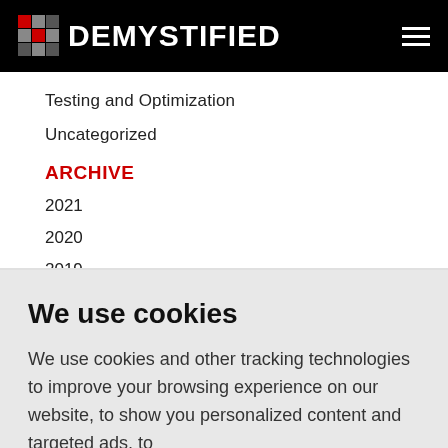DEMYSTIFIED
Testing and Optimization
Uncategorized
ARCHIVE
2021
2020
2019
2018
We use cookies
We use cookies and other tracking technologies to improve your browsing experience on our website, to show you personalized content and targeted ads, to